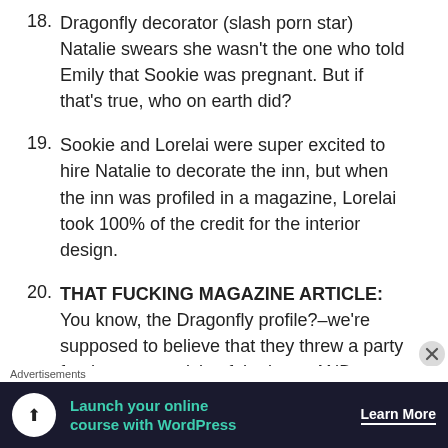18. Dragonfly decorator (slash porn star) Natalie swears she wasn't the one who told Emily that Sookie was pregnant. But if that's true, who on earth did?
19. Sookie and Lorelai were super excited to hire Natalie to decorate the inn, but when the inn was profiled in a magazine, Lorelai took 100% of the credit for the interior design.
20. THAT FUCKING MAGAZINE ARTICLE: You know, the Dragonfly profile?–we're supposed to believe that they threw a party for the cover article of the issue AND sent a limo for Lorelai (but Sookie and Jackson weren't included).
Advertisements
[Figure (infographic): Advertisement banner: dark navy background with white circle icon showing a person/tree symbol, teal text 'Launch your online course with WordPress', and white 'Learn More' button with underline.]